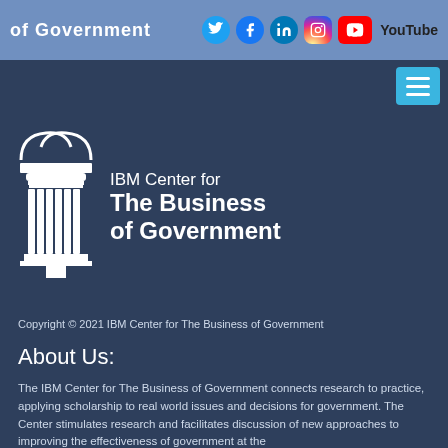IBM Center for The Business of Government
[Figure (logo): Social media icons: Twitter, Facebook, LinkedIn, Instagram, YouTube]
[Figure (logo): IBM Center for The Business of Government logo with column capital icon]
Copyright © 2021 IBM Center for The Business of Government
About Us:
The IBM Center for The Business of Government connects research to practice, applying scholarship to real world issues and decisions for government. The Center stimulates research and facilitates discussion of new approaches to improving the effectiveness of government at the